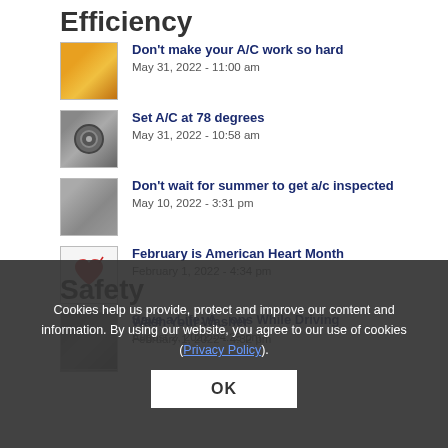Efficiency
Don't make your A/C work so hard
May 31, 2022 - 11:00 am
Set A/C at 78 degrees
May 31, 2022 - 10:58 am
Don't wait for summer to get a/c inspected
May 10, 2022 - 3:31 pm
February is American Heart Month
February 1, 2022 - 4:34 pm
Wash Your Washer
February 1, 2022 - 4:32 pm
Safety
Save a Life: A...ons While Driving
August 2, 2022 - 4:25 pm
Cookies help us provide, protect and improve our content and information. By using our website, you agree to our use of cookies (Privacy Policy).